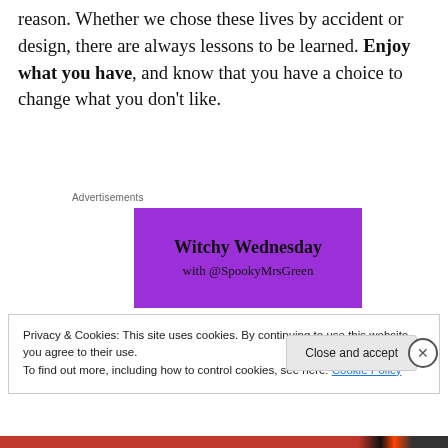reason. Whether we chose these lives by accident or design, there are always lessons to be learned. Enjoy what you have, and know that you have a choice to change what you don't like.
Advertisements
[Figure (illustration): Purple advertisement banner reading 'Witchy Wednesday with @SpookyMrsGreen']
Privacy & Cookies: This site uses cookies. By continuing to use this website, you agree to their use.
To find out more, including how to control cookies, see here: Cookie Policy
Close and accept